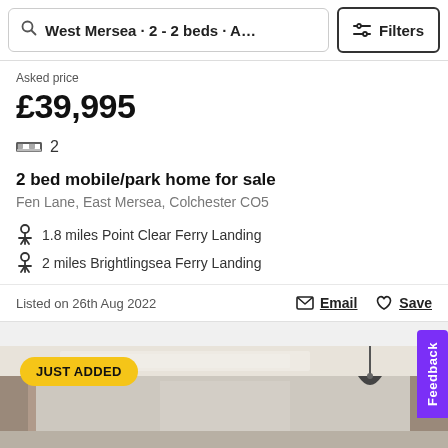West Mersea · 2 - 2 beds · A… | Filters
Asked price
£39,995
2 beds
2 bed mobile/park home for sale
Fen Lane, East Mersea, Colchester CO5
1.8 miles Point Clear Ferry Landing
2 miles Brightlingsea Ferry Landing
Listed on 26th Aug 2022
Email   Save
[Figure (photo): Interior room photo with 'JUST ADDED' badge]
JUST ADDED